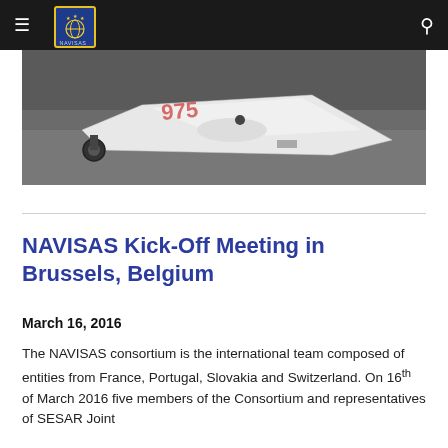NAVISAS (navigation bar with logo and search icon)
[Figure (photo): A white drone/unmanned aerial vehicle lying on a dark tarmac surface, viewed from above at an angle. A small wheeled landing gear is visible at the left.]
NAVISAS Kick-Off Meeting in Brussels, Belgium
March 16, 2016
The NAVISAS consortium is the international team composed of entities from France, Portugal, Slovakia and Switzerland. On 16th of March 2016 five members of the Consortium and representatives of SESAR Joint